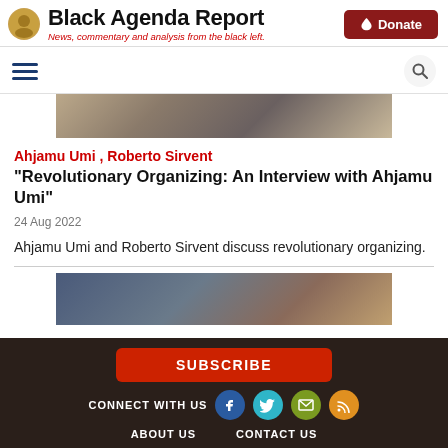Black Agenda Report — News, commentary and analysis from the black left.
[Figure (photo): Partial photo strip showing people, cropped at top of article]
Ahjamu Umi , Roberto Sirvent
"Revolutionary Organizing: An Interview with Ahjamu Umi"
24 Aug 2022
Ahjamu Umi and Roberto Sirvent discuss revolutionary organizing.
[Figure (photo): Partial photo strip showing two men near an American flag, cropped]
SUBSCRIBE
CONNECT WITH US
ABOUT US   CONTACT US